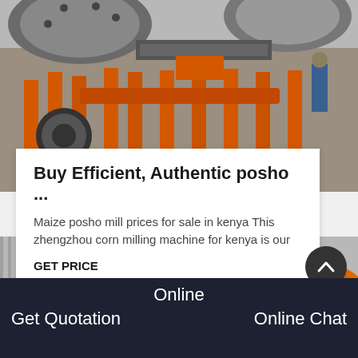[Figure (photo): Industrial machinery / mill equipment in a factory setting, viewed from below showing large mechanical drum with orange metal frame and worker in background]
Buy Efficient, Authentic posho ...
Maize posho mill prices for sale in kenya This zhengzhou corn milling machine for kenya is our
GET PRICE
[Figure (photo): Large orange industrial ball mill machinery photographed outside a factory building with corrugated metal walls]
Online
Get Quotation    Online Chat